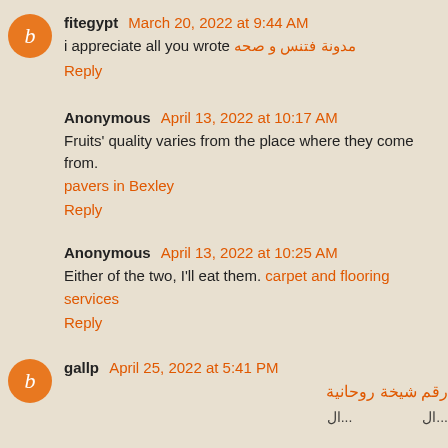fitegypt March 20, 2022 at 9:44 AM
i appreciate all you wrote مدونة فتنس و صحه
Reply
Anonymous April 13, 2022 at 10:17 AM
Fruits' quality varies from the place where they come from.
pavers in Bexley
Reply
Anonymous April 13, 2022 at 10:25 AM
Either of the two, I'll eat them. carpet and flooring services
Reply
gallp April 25, 2022 at 5:41 PM
رقم شيخة روحانية